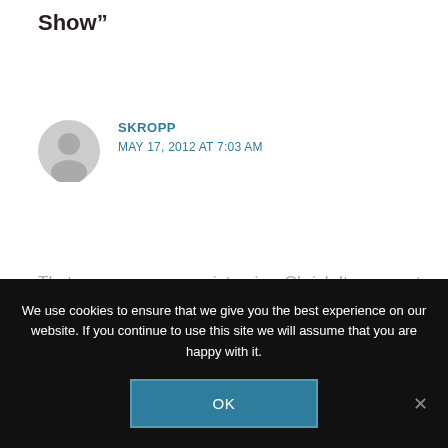Show”
[Figure (illustration): Gray circular user avatar icon with silhouette of a person]
SKROPP
MAY 17, 2012 AT 7:03 AM
That was an awesome interview Chris!  It was neat to hear you on the other side of an interview!  Now, two questions. What am  I passionate about?  You know that’s something  I’ve really been
We use cookies to ensure that we give you the best experience on our website. If you continue to use this site we will assume that you are happy with it.
OK